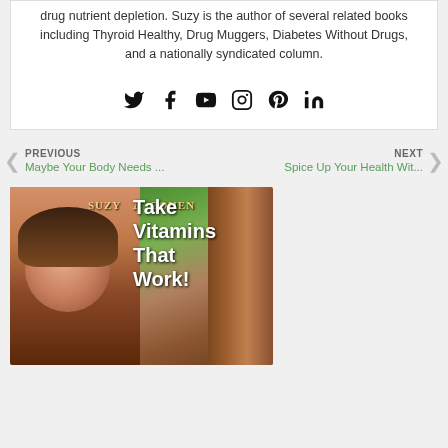drug nutrient depletion. Suzy is the author of several related books including Thyroid Healthy, Drug Muggers, Diabetes Without Drugs, and a nationally syndicated column.
[Figure (infographic): Social media icons row: Twitter, Facebook, YouTube, Instagram, Pinterest, LinkedIn]
PREVIOUS
Maybe Your Body Needs ...
NEXT
Spice Up Your Health Wit...
[Figure (photo): Book cover showing Suzy Cohen with text 'SUZY COHEN Take Vitamins That Work!']